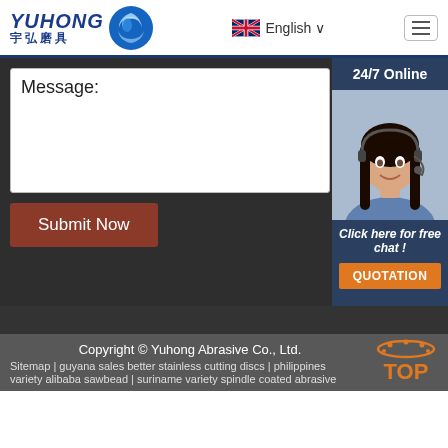[Figure (logo): Yuhong Abrasive company logo with Chinese characters 宇弘磨具 and blue wave icon]
English ∨
Message:
[Figure (photo): Customer service representative with headset, smiling]
24/7 Online
Click here for free chat !
QUOTATION
Submit Now
Copyright © Yuhong Abrasive Co., Ltd.
Sitemap | guyana sales better stainless cutting discs | philippines
variety alibaba sawbead | suriname variety spindle coated abrasive